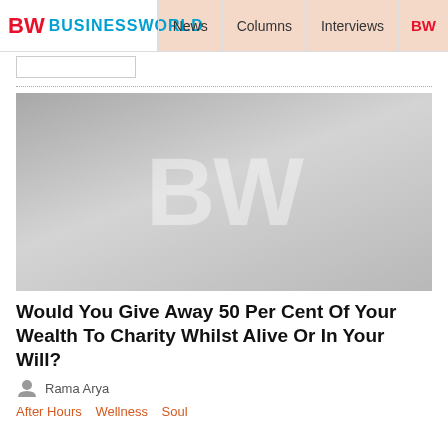BW BUSINESSWORLD | News | Columns | Interviews | BW
[Figure (logo): BusinessWorld BW logo placeholder image with large BW watermark on grey gradient background]
Would You Give Away 50 Per Cent Of Your Wealth To Charity Whilst Alive Or In Your Will?
Rama Arya
After Hours  Wellness  Soul